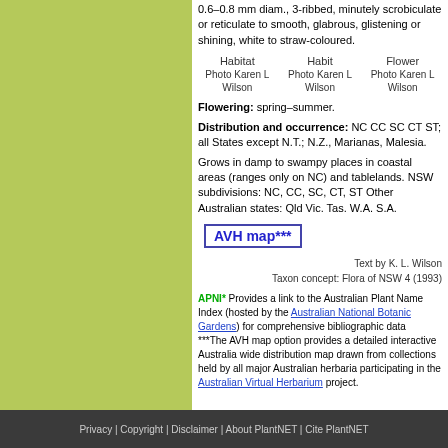0.6–0.8 mm diam., 3-ribbed, minutely scrobiculate or reticulate to smooth, glabrous, glistening or shining, white to straw-coloured.
[Figure (photo): Three photo placeholders: Habitat, Habit, Flower — all Photo Karen L Wilson]
Flowering: spring–summer.
Distribution and occurrence: NC CC SC CT ST; all States except N.T.; N.Z., Marianas, Malesia.
Grows in damp to swampy places in coastal areas (ranges only on NC) and tablelands. NSW subdivisions: NC, CC, SC, CT, ST Other Australian states: Qld Vic. Tas. W.A. S.A.
AVH map***
Text by K. L. Wilson
Taxon concept: Flora of NSW 4 (1993)
APNI* Provides a link to the Australian Plant Name Index (hosted by the Australian National Botanic Gardens) for comprehensive bibliographic data ***The AVH map option provides a detailed interactive Australia wide distribution map drawn from collections held by all major Australian herbaria participating in the Australian Virtual Herbarium project.
Privacy | Copyright | Disclaimer | About PlantNET | Cite PlantNET